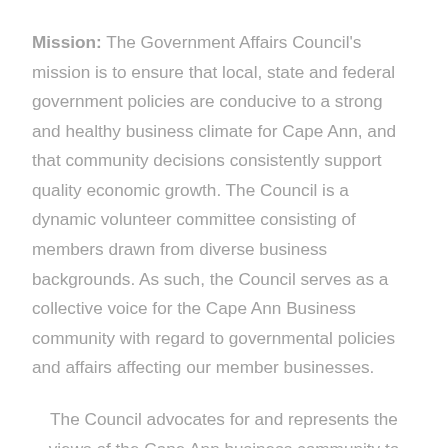Mission: The Government Affairs Council's mission is to ensure that local, state and federal government policies are conducive to a strong and healthy business climate for Cape Ann, and that community decisions consistently support quality economic growth. The Council is a dynamic volunteer committee consisting of members drawn from diverse business backgrounds. As such, the Council serves as a collective voice for the Cape Ann Business community with regard to governmental policies and affairs affecting our member businesses.
The Council advocates for and represents the views of the Cape Ann business community to local, state and federal agencies and elected officials, as well as any other necessary parties. This is accomplished by engaging with such officials in meaningful policy discussions on members' behalf, and by